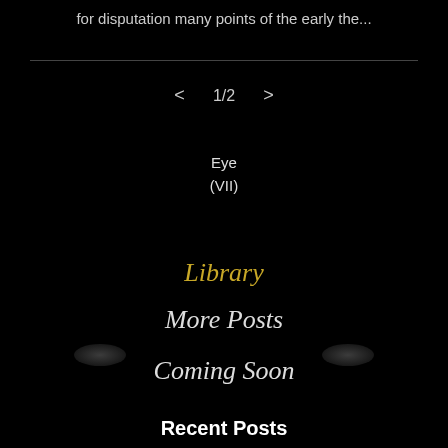for disputation many points of the early the...
< 1/2 >
Eye
(VII)
Library
More Posts
Coming Soon
Recent Posts